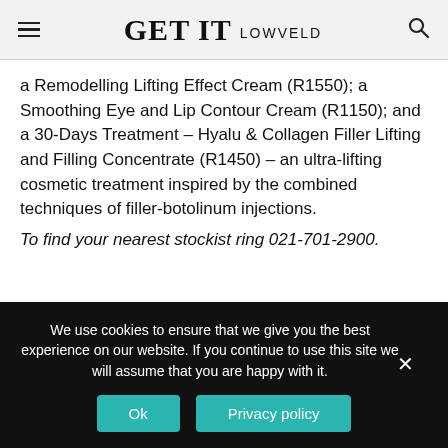GET IT LOWVELD
a Remodelling Lifting Effect Cream (R1550); a Smoothing Eye and Lip Contour Cream (R1150); and a 30-Days Treatment – Hyalu & Collagen Filler Lifting and Filling Concentrate (R1450) – an ultra-lifting cosmetic treatment inspired by the combined techniques of filler-botolinum injections.
To find your nearest stockist ring 021-701-2900.
We use cookies to ensure that we give you the best experience on our website. If you continue to use this site we will assume that you are happy with it.
Ok
Privacy policy